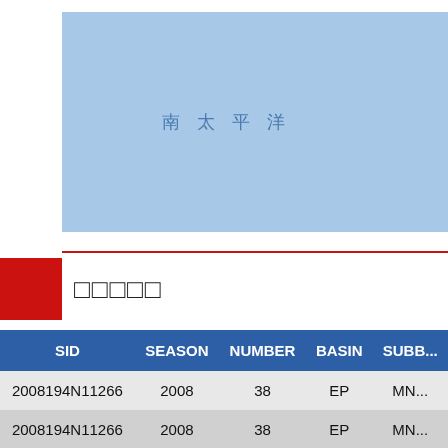[Figure (map): Map section showing blue ocean area labeled 南太平洋 (South Pacific Ocean) in Chinese characters]
□□□□□
| SID | SEASON | NUMBER | BASIN | SUBB... |
| --- | --- | --- | --- | --- |
| 2008194N11266 | 2008 | 38 | EP | MN... |
| 2008194N11266 | 2008 | 38 | EP | MN... |
| 2008194N11266 | 2008 | 38 | EP | MN... |
| 2008194N11266 | 2008 | 38 | EP | MN... |
| 2008194N11266 | 2008 | 38 | EP | MN... |
| 2008194N11266 | 2008 | 38 | EP | MN... |